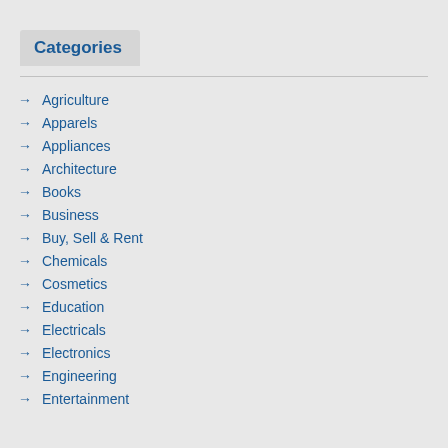Categories
Agriculture
Apparels
Appliances
Architecture
Books
Business
Buy, Sell & Rent
Chemicals
Cosmetics
Education
Electricals
Electronics
Engineering
Entertainment